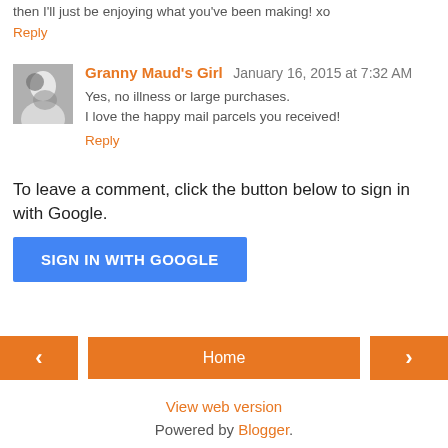then I'll just be enjoying what you've been making! xo
Reply
Granny Maud's Girl  January 16, 2015 at 7:32 AM
Yes, no illness or large purchases.
I love the happy mail parcels you received!
Reply
To leave a comment, click the button below to sign in with Google.
[Figure (other): SIGN IN WITH GOOGLE button (blue)]
[Figure (other): Navigation bar with left arrow, Home button, right arrow (all orange)]
View web version
Powered by Blogger.